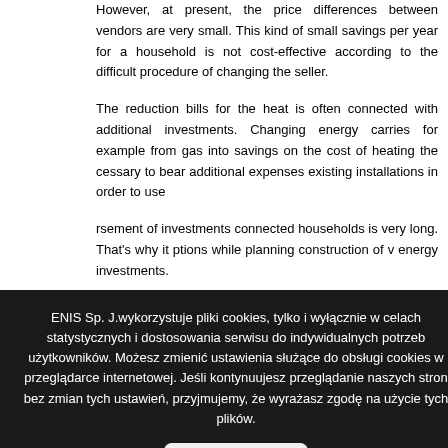However, at present, the price differences between vendors are very small. This kind of small savings per year for a household is not cost-effective according to the difficult procedure of changing the seller.
The reduction bills for the heat is often connected with additional investments. Changing energy carries for example from gas into savings on the cost of heating the cessary to bear additional expenses existing installations in order to use
rsement of investments connected households is very long. That's why it ptions while planning construction of v energy investments.
in households, we offer you the
g solutions.
aimed at rational energy
ENIS Sp. J.wykorzystuje pliki cookies, tylko i wyłącznie w celach statystycznych i dostosowania serwisu do indywidualnych potrzeb użytkowników. Możesz zmienić ustawienia służące do obsługi cookies w przeglądarce internetowej. Jeśli kontynuujesz przeglądanie naszych stron bez zmian tych ustawień, przyjmujemy, że wyrażasz zgodę na użycie tych plików.
Akceptuj
ENIS Group